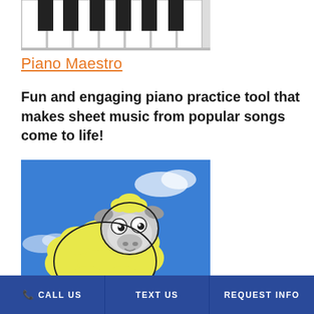[Figure (photo): Piano keyboard keys image (black and white keys) — app icon/screenshot for Piano Maestro]
Piano Maestro
Fun and engaging piano practice tool that makes sheet music from popular songs come to life!
[Figure (illustration): Cartoon yellow fluffy sheep character with big eyes and small yellow tuft on head, set against a blue sky with white clouds — app icon/logo for a children's app]
CALL US   TEXT US   REQUEST INFO